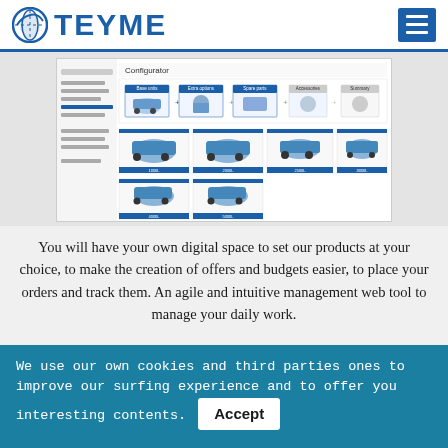TEYME
[Figure (screenshot): Screenshot of TEYME product configurator web interface showing a configurator step flow at top with icons, and a grid of blue water tanker trailer products below in 2 rows.]
You will have your own digital space to set our products at your choice, to make the creation of offers and budgets easier, to place your orders and track them. An agile and intuitive management web tool to manage your daily work.
We use our own cookies and third parties ones to improve our surfing experience and to offer you interesting contents. Accept